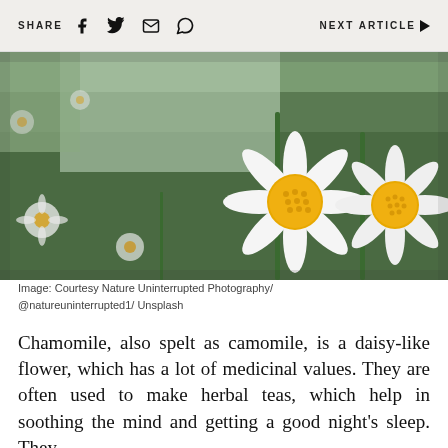SHARE   NEXT ARTICLE
[Figure (photo): Close-up photograph of white daisy-like chamomile flowers with yellow centers against a blurred green background field of daisies]
Image: Courtesy Nature Uninterrupted Photography/ @natureuninterrupted1/ Unsplash
Chamomile, also spelt as camomile, is a daisy-like flower, which has a lot of medicinal values. They are often used to make herbal teas, which help in soothing the mind and getting a good night's sleep. They